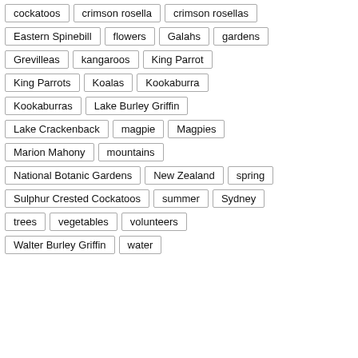cockatoos
crimson rosella
crimson rosellas
Eastern Spinebill
flowers
Galahs
gardens
Grevilleas
kangaroos
King Parrot
King Parrots
Koalas
Kookaburra
Kookaburras
Lake Burley Griffin
Lake Crackenback
magpie
Magpies
Marion Mahony
mountains
National Botanic Gardens
New Zealand
spring
Sulphur Crested Cockatoos
summer
Sydney
trees
vegetables
volunteers
Walter Burley Griffin
water